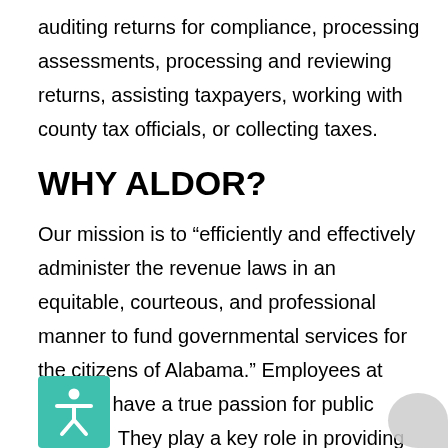auditing returns for compliance, processing assessments, processing and reviewing returns, assisting taxpayers, working with county tax officials, or collecting taxes.
WHY ALDOR?
Our mission is to “efficiently and effectively administer the revenue laws in an equitable, courteous, and professional manner to fund governmental services for the citizens of Alabama.” Employees at ALDOR have a true passion for public service.  They play a key role in providing public services that affect the daily lives of all Alabama citizens by ensuring revenue is collected and